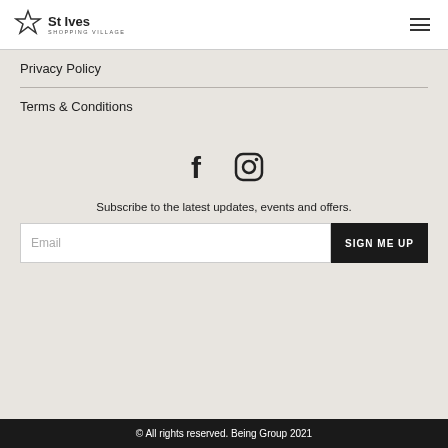St Ives Shopping Village
Privacy Policy
Terms & Conditions
[Figure (illustration): Facebook and Instagram social media icons]
Subscribe to the latest updates, events and offers.
© All rights reserved. Being Group 2021